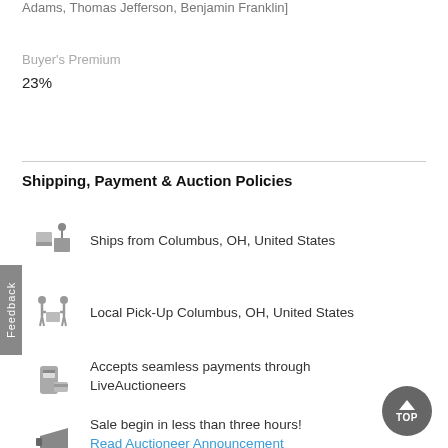Adams, Thomas Jefferson, Benjamin Franklin]
Buyer's Premium
23%
Shipping, Payment & Auction Policies
Ships from Columbus, OH, United States
Local Pick-Up Columbus, OH, United States
Accepts seamless payments through LiveAuctioneers
Sale begin in less than three hours! Read Auctioneer Announcement